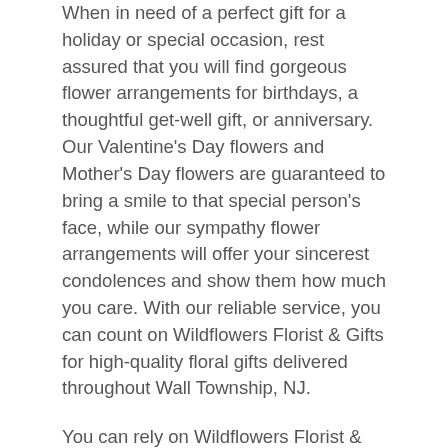When in need of a perfect gift for a holiday or special occasion, rest assured that you will find gorgeous flower arrangements for birthdays, a thoughtful get-well gift, or anniversary. Our Valentine's Day flowers and Mother's Day flowers are guaranteed to bring a smile to that special person's face, while our sympathy flower arrangements will offer your sincerest condolences and show them how much you care. With our reliable service, you can count on Wildflowers Florist & Gifts for high-quality floral gifts delivered throughout Wall Township, NJ.
You can rely on Wildflowers Florist & Gifts for the best floral gifts in Wall Township! With the convenience of our online store, you can browse our website and shop our wide collection of fresh flower arrangements and customized gift baskets; we have something for every occasion. When you find the gift that's right for you, easily order online or call us directly for delivery or pickup in-store. No matter what your taste or budget, you can trust Wildflowers Florist & Gifts to deliver beautiful flowers to friends and family in Wall Township or across the country.
Stunning Flowers for Loved Ones in